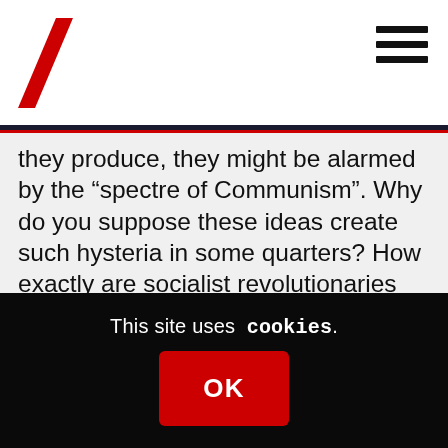[Site logo / navigation header with slash logo and hamburger menu]
they produce, they might be alarmed by the “spectre of Communism”. Why do you suppose these ideas create such hysteria in some quarters? How exactly are socialist revolutionaries motivated by fear?
On the contrary, as a materialist, Marx was keen to compare existing conditions with a materially better life in the future (as indeed has happened for many, due partly to advances in science, technology and social policy; while many still suffer the deprivations noted in
This site uses cookies. OK